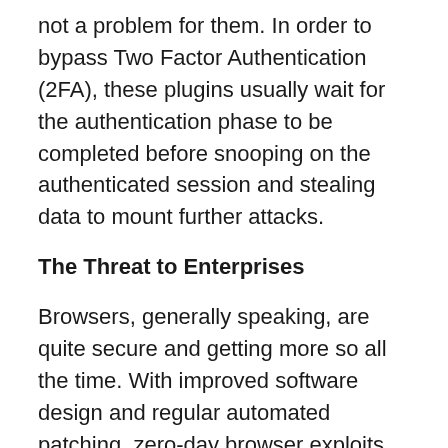not a problem for them. In order to bypass Two Factor Authentication (2FA), these plugins usually wait for the authentication phase to be completed before snooping on the authenticated session and stealing data to mount further attacks.
The Threat to Enterprises
Browsers, generally speaking, are quite secure and getting more so all the time. With improved software design and regular automated patching, zero-day browser exploits are getting rarer. The difficulty is that browser users are being tricked into adding browser extensions through a